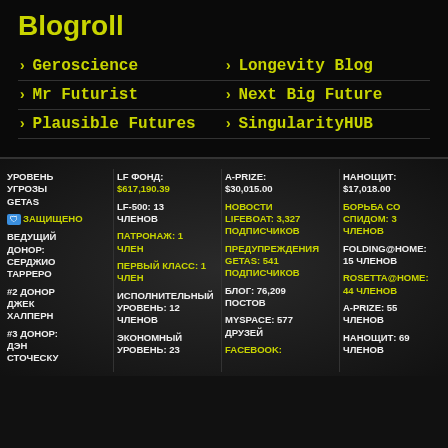Blogroll
Geroscience
Longevity Blog
Mr Futurist
Next Big Future
Plausible Futures
SingularityHUB
| УРОВЕНЬ УГРОЗЫ GETAS | LF ФОНД: $617,190.39 | A-PRIZE: $30,015.00 | НАНОЩИТ: $17,018.00 | ИИ-ЩИТ: $4,125.00 |
| ЗАЩИЩЕНО | LF-500: 13 ЧЛЕНОВ | НОВОСТИ LIFEBOAT: 3,327 ПОДПИСЧИКОВ | БОРЬБА СО СПИДОМ: 3 ЧЛЕНОВ | SAB: 2,851 ЧЛЕНОВ |
| ВЕДУЩИЙ ДОНОР: СЕРДЖИО ТАРРЕРО | ПАТРОНАЖ: 1 ЧЛЕН | ПРЕДУПРЕЖДЕНИЯ GETAS: 541 ПОДПИСЧИКОВ | FOLDING@HOME: 15 ЧЛЕНОВ | ОТЧЕТЫ: 74 |
| #2 ДОНОР ДЖЕК ХАЛПЕРН | ПЕРВЫЙ КЛАСС: 1 ЧЛЕН | БЛОГ: 76,209 ПОСТОВ | ROSETTA@HOME: 44 ЧЛЕНОВ | ПРОГРАММ 25 |
| #3 ДОНОР: ДЭН СТОЧЕСКУ | ИСПОЛНИТЕЛЬНЫЙ УРОВЕНЬ: 12 ЧЛЕНОВ | MYSPACE: 577 ДРУЗЕЙ | A-PRIZE: 55 ЧЛЕНОВ | ФОРУМЫ: 25 |
|  | ЭКОНОМНЫЙ УРОВЕНЬ: 23 | FACEBOOK: | НАНОЩИТ: 69 ЧЛЕНОВ | ЦИТАТЫ: 136 |